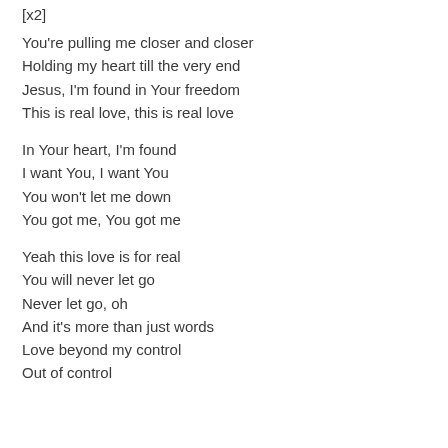[x2]
You're pulling me closer and closer
Holding my heart till the very end
Jesus, I'm found in Your freedom
This is real love, this is real love
In Your heart, I'm found
I want You, I want You
You won't let me down
You got me, You got me
Yeah this love is for real
You will never let go
Never let go, oh
And it's more than just words
Love beyond my control
Out of control